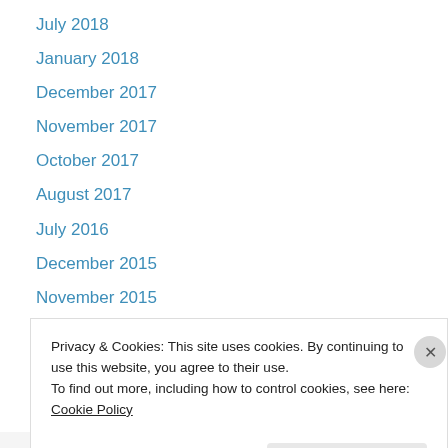July 2018
January 2018
December 2017
November 2017
October 2017
August 2017
July 2016
December 2015
November 2015
October 2015
September 2015
August 2015
May 2015
Privacy & Cookies: This site uses cookies. By continuing to use this website, you agree to their use.
To find out more, including how to control cookies, see here: Cookie Policy
Close and accept